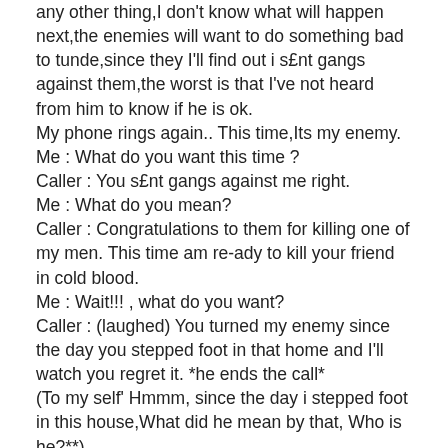any other thing,I don't know what will happen next,the enemies will want to do something bad to tunde,since they I'll find out i s£nt gangs against them,the worst is that I've not heard from him to know if he is ok.
My phone rings again.. This time,Its my enemy.
Me : What do you want this time ?
Caller : You s£nt gangs against me right.
Me : What do you mean?
Caller : Congratulations to them for killing one of my men. This time am re-ady to kill your friend in cold blood.
Me : Wait!!! , what do you want?
Caller : (laughed) You turned my enemy since the day you stepped foot in that home and I'll watch you regret it. *he ends the call*
(To my self' Hmmm, since the day i stepped foot in this house,What did he mean by that, Who is he?**)
(What is all this,I asked my self.. When will all this st©p,I hate it all.